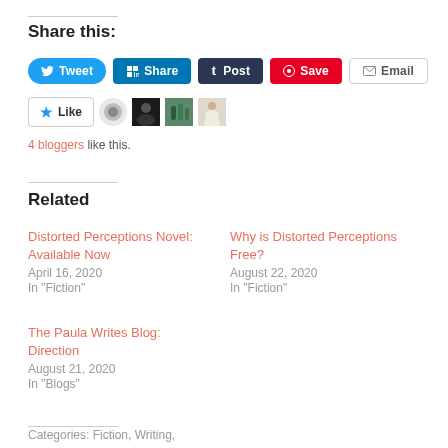Share this:
[Figure (infographic): Social sharing buttons: Tweet (Twitter, blue), Share (LinkedIn, blue), Post (Tumblr, dark navy), Save (Pinterest, red), Email (grey outline)]
[Figure (infographic): WordPress Like button with star icon, followed by blogger avatars (circle logo, dark square avatar, teal/green bottle avatar, woman in white dress avatar)]
4 bloggers like this.
Related
Distorted Perceptions Novel: Available Now
April 16, 2020
In "Fiction"
Why is Distorted Perceptions Free?
August 22, 2020
In "Fiction"
The Paula Writes Blog: Direction
August 21, 2020
In "Blogs"
Categories: Fiction, Writing, …